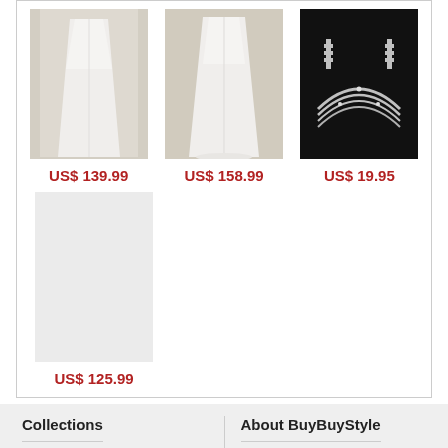[Figure (photo): White wedding dress on mannequin in studio setting]
US$ 139.99
[Figure (photo): White wedding dress on mannequin in studio setting]
US$ 158.99
[Figure (photo): Silver rhinestone jewelry set (necklace and earrings) on black background]
US$ 19.95
[Figure (photo): Light gray/blank product image placeholder]
US$ 125.99
Collections
About BuyBuyStyle
Wedding Dresses
About us
Bridesmaid Dresses
Contact Us
Mother Dresses
Wholesale
Flower Girl Dresses
SiteMap